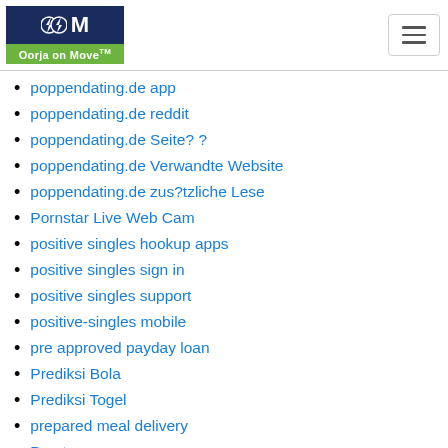Oorja on Move
poppendating.de app
poppendating.de reddit
poppendating.de Seite? ?
poppendating.de Verwandte Website
poppendating.de zus?tzliche Lese
Pornstar Live Web Cam
positive singles hookup apps
positive singles sign in
positive singles support
positive-singles mobile
pre approved payday loan
Prediksi Bola
Prediksi Togel
prepared meal delivery
Prestamos
PrimeSingles kosten